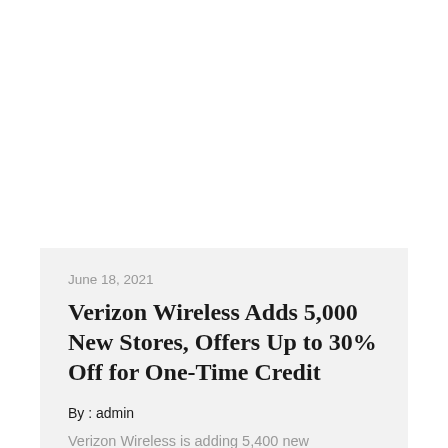June 18, 2021
Verizon Wireless Adds 5,000 New Stores, Offers Up to 30% Off for One-Time Credit
By : admin
Verizon Wireless is adding 5,400 new